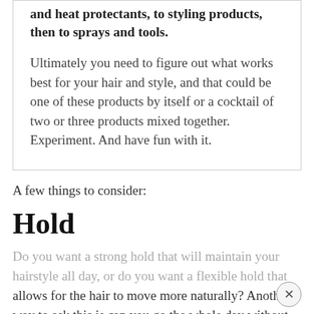and heat protectants, to styling products, then to sprays and tools.
Ultimately you need to figure out what works best for your hair and style, and that could be one of these products by itself or a cocktail of two or three products mixed together. Experiment. And have fun with it.
A few things to consider:
Hold
Do you want a strong hold that will maintain your hairstyle all day, or do you want a flexible hold that allows for the hair to move more naturally? Another way to ask this is can you go the whole day without